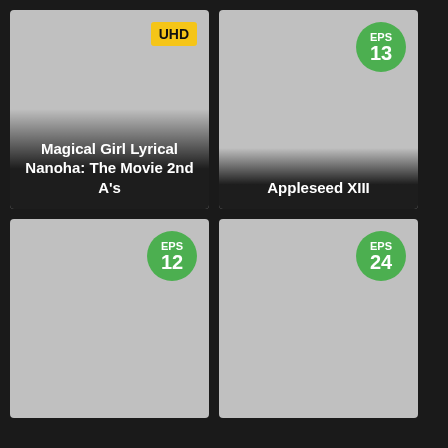[Figure (screenshot): Movie card for Magical Girl Lyrical Nanoha: The Movie 2nd A's with UHD badge and gray placeholder image]
[Figure (screenshot): Anime series card for Appleseed XIII with EPS 13 green badge and gray placeholder image]
[Figure (screenshot): Anime series card with EPS 12 green badge and gray placeholder image]
[Figure (screenshot): Anime series card with EPS 24 green badge and gray placeholder image]